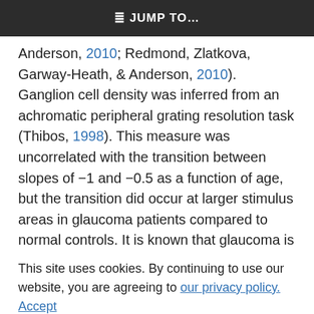≡D JUMP TO…
Anderson, 2010; Redmond, Zlatkova, Garway-Heath, & Anderson, 2010). Ganglion cell density was inferred from an achromatic peripheral grating resolution task (Thibos, 1998). This measure was uncorrelated with the transition between slopes of −1 and −0.5 as a function of age, but the transition did occur at larger stimulus areas in glaucoma patients compared to normal controls. It is known that glaucoma is characterized by substantial loss of ganglion cells. These authors concluded from the
glaucoma patients that an enlargement of the stimulation area may compensate for sensitivity losses that would otherwise occur with reduced ganglion cell sampling. This result supported
This site uses cookies. By continuing to use our website, you are agreeing to our privacy policy. Accept